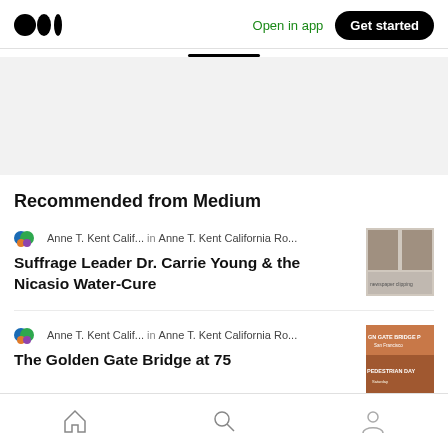Open in app  Get started
Recommended from Medium
Anne T. Kent Calif...  in  Anne T. Kent California Ro...
Suffrage Leader Dr. Carrie Young & the Nicasio Water-Cure
[Figure (photo): Thumbnail image of a newspaper clipping with two portrait photos]
Anne T. Kent Calif...  in  Anne T. Kent California Ro...
The Golden Gate Bridge at 75
[Figure (photo): Thumbnail image of Golden Gate Bridge Pedestrian Day poster]
Home  Search  Profile